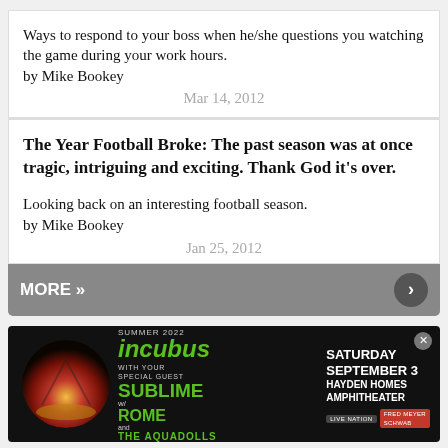Ways to respond to your boss when he/she questions you watching the game during your work hours.
by Mike Bookey
Mar 14, 2012
The Year Football Broke: The past season was at once tragic, intriguing and exciting. Thank God it's over.
Looking back on an interesting football season.
by Mike Bookey
Jan 25, 2012
MORE »
[Figure (photo): Advertisement banner for Incubus concert with Sublime with Rome and The Aquadolls, Saturday September 3 at Hayden Homes Amphitheater]